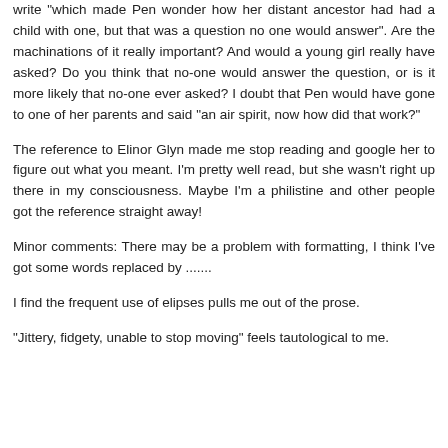write "which made Pen wonder how her distant ancestor had had a child with one, but that was a question no one would answer". Are the machinations of it really important? And would a young girl really have asked? Do you think that no-one would answer the question, or is it more likely that no-one ever asked? I doubt that Pen would have gone to one of her parents and said "an air spirit, now how did that work?"
The reference to Elinor Glyn made me stop reading and google her to figure out what you meant. I'm pretty well read, but she wasn't right up there in my consciousness. Maybe I'm a philistine and other people got the reference straight away!
Minor comments: There may be a problem with formatting, I think I've got some words replaced by .......
I find the frequent use of elipses pulls me out of the prose.
"Jittery, fidgety, unable to stop moving" feels tautological to me.